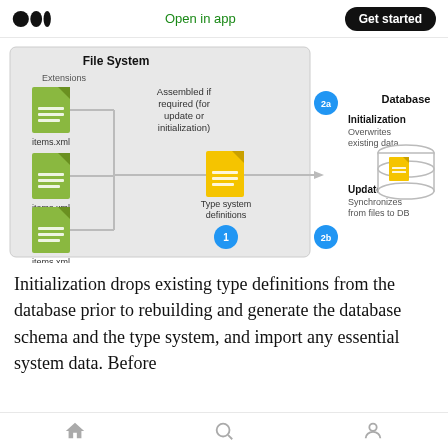Open in app | Get started
[Figure (flowchart): Diagram showing File System with three items.xml files (Extensions) being assembled if required into Type system definitions (step 1), then flowing to Database via step 2a (Initialization - Overwrites existing data) and step 2b (Update - Synchronizes from files to DB).]
Initialization drops existing type definitions from the database prior to rebuilding and generate the database schema and the type system, and import any essential system data. Before
Home | Search | Profile